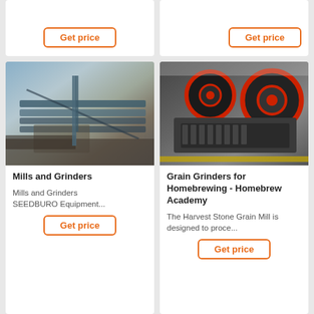[Figure (photo): Partial top of a product card showing a Get price button]
Get price
[Figure (photo): Partial top of a product card showing a Get price button (right column)]
Get price
[Figure (photo): Industrial conveyor belt and screw auger equipment photo]
Mills and Grinders
Mills and Grinders SEEDBURO Equipment...
Get price
[Figure (photo): Industrial jaw crusher machine with red flywheel in factory setting]
Grain Grinders for Homebrewing - Homebrew Academy
The Harvest Stone Grain Mill is designed to proce...
Get price